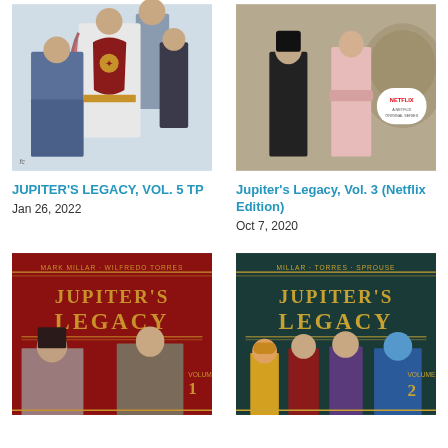[Figure (photo): Jupiter's Legacy Vol. 5 TP book cover - superhero characters posed together]
JUPITER'S LEGACY, VOL. 5 TP
Jan 26, 2022
[Figure (photo): Jupiter's Legacy Vol. 3 Netflix Edition book cover - characters standing, Netflix badge]
Jupiter's Legacy, Vol. 3 (Netflix Edition)
Oct 7, 2020
[Figure (photo): Jupiter's Legacy Volume 1 book cover - red background with golden art deco lettering, Mark Millar Wilfredo Torres]
[Figure (photo): Jupiter's Legacy Volume 2 book cover - dark teal background with golden art deco lettering, Millar Torres Sprouse]